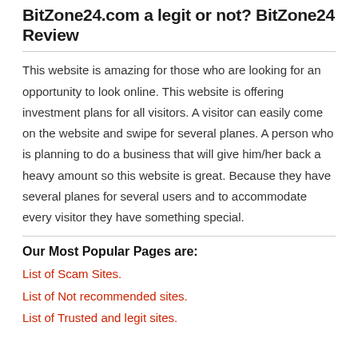BitZone24.com a legit or not? BitZone24 Review
This website is amazing for those who are looking for an opportunity to look online. This website is offering investment plans for all visitors. A visitor can easily come on the website and swipe for several planes. A person who is planning to do a business that will give him/her back a heavy amount so this website is great. Because they have several planes for several users and to accommodate every visitor they have something special.
Our Most Popular Pages are:
List of Scam Sites.
List of Not recommended sites.
List of Trusted and legit sites.